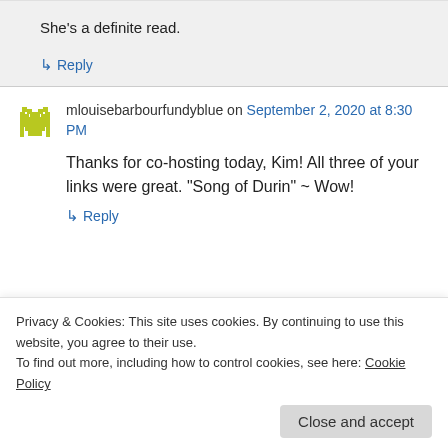She's a definite read.
↳ Reply
mlouisebarbourfundyblue on September 2, 2020 at 8:30 PM
Thanks for co-hosting today, Kim! All three of your links were great. “Song of Durin” ~ Wow!
↳ Reply
Privacy & Cookies: This site uses cookies. By continuing to use this website, you agree to their use.
To find out more, including how to control cookies, see here: Cookie Policy
Close and accept